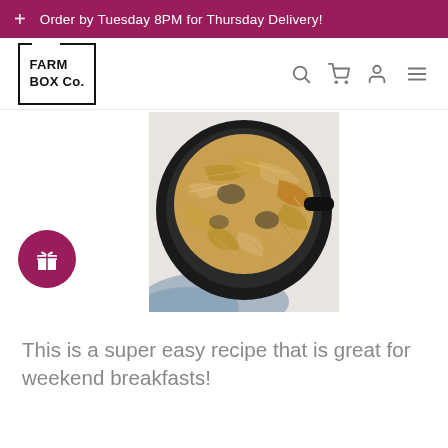+ Order by Tuesday 8PM for Thursday Delivery!
[Figure (logo): Farm Box Co. logo — black square border with FARM BOX Co. text inside]
[Figure (photo): Close-up photo of shredded hash browns cooking in a black cast iron skillet, golden brown and crispy, on a marble surface with a blue linen cloth]
[Figure (other): Pink/magenta circular button with a gift box icon]
This is a super easy recipe that is great for weekend breakfasts!